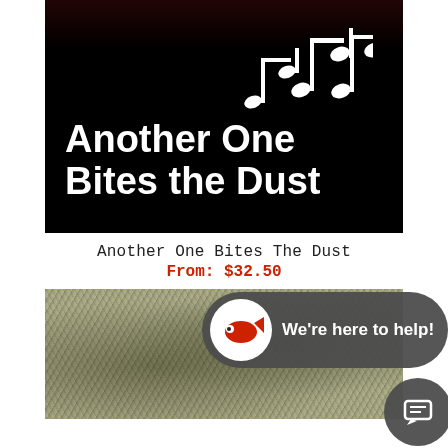[Figure (illustration): Black background album/song title card with white musical notes in the upper right corner and bold white text reading 'Another One Bites the Dust']
Another One Bites The Dust
From: $32.50
[Figure (photo): Textured earthy/mossy surface photograph with dark green and beige tones]
[Figure (infographic): Chat widget overlay: dark rounded pill shape with a red fish logo avatar and text 'We're here to help!' plus a circular chat button with message icon in the bottom right]